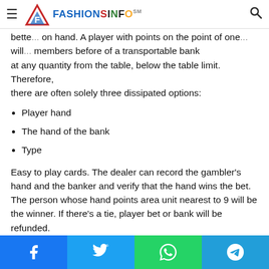FashionSInfo – Navigation bar with logo and search
bette... on hand. A player with points on the point of one... will... members before of a transportable bank at any quantity from the table, below the table limit. Therefore, there are often solely three dissipated options:
Player hand
The hand of the bank
Type
Easy to play cards. The dealer can record the gambler's hand and the banker and verify that the hand wins the bet. The person whose hand points area unit nearest to 9 will be the winner. If there's a tie, player bet or bank will be refunded.
A live dealer carries cards in live casino games, which distribute cards to players sitting at a table. In most cases...
Social share buttons: Facebook, Twitter, WhatsApp, Telegram